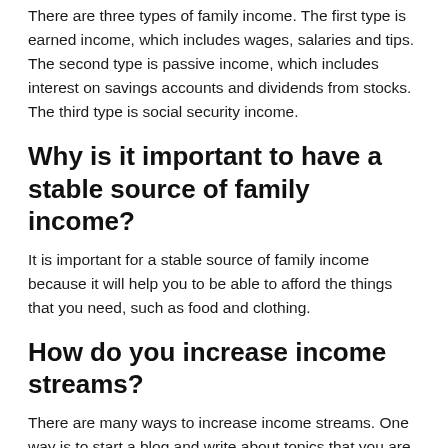There are three types of family income. The first type is earned income, which includes wages, salaries and tips. The second type is passive income, which includes interest on savings accounts and dividends from stocks. The third type is social security income.
Why is it important to have a stable source of family income?
It is important for a stable source of family income because it will help you to be able to afford the things that you need, such as food and clothing.
How do you increase income streams?
There are many ways to increase income streams. One way is to start a blog and write about topics that you are passionate about. Another way is to start your own business.